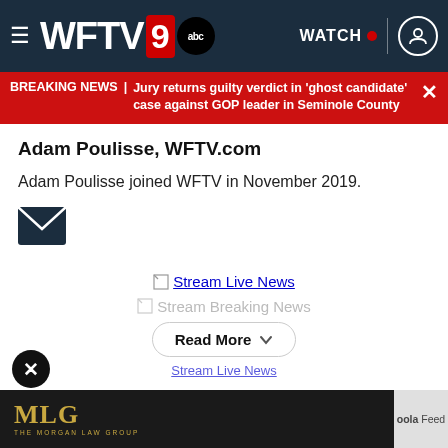WFTV 9 abc | WATCH
BREAKING NEWS | Jury returns guilty verdict in 'ghost candidate' case against GOP leader in Seminole County
Adam Poulisse, WFTV.com
Adam Poulisse joined WFTV in November 2019.
[Figure (illustration): Email envelope icon (dark blue/navy)]
[Figure (screenshot): Stream Live News link with broken image placeholder]
[Figure (screenshot): Stream Breaking News link with broken image placeholder]
[Figure (illustration): Read More button with chevron/dropdown arrow]
[Figure (screenshot): Partially visible Stream Live News link at bottom]
[Figure (logo): MLG - The Morgan Law Group advertisement banner at bottom]
oola Feed